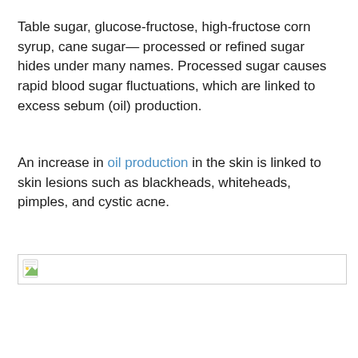Table sugar, glucose-fructose, high-fructose corn syrup, cane sugar— processed or refined sugar hides under many names. Processed sugar causes rapid blood sugar fluctuations, which are linked to excess sebum (oil) production.
An increase in oil production in the skin is linked to skin lesions such as blackheads, whiteheads, pimples, and cystic acne.
[Figure (photo): Broken/missing image placeholder icon with a small document icon showing a green leaf]